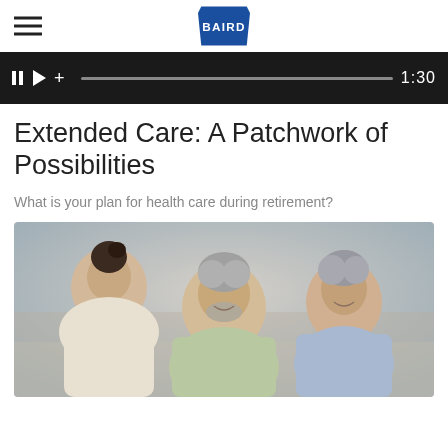BAIRD
[Figure (screenshot): Video player control bar showing pause, play, add controls, progress bar, and time 1:30 on dark background]
Extended Care: A Patchwork of Possibilities
What is your plan for health care during retirement?
[Figure (photo): A smiling middle-aged couple meeting with a financial advisor or healthcare professional. The man has grey hair and a beard wearing a light green polo shirt; the woman has grey hair wearing a light blue shirt. A younger woman with dark hair in a bun is seen from behind.]